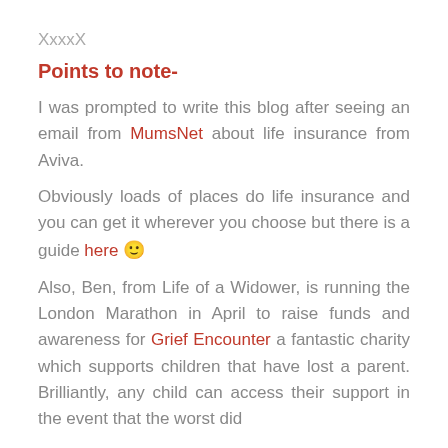XxxxX
Points to note-
I was prompted to write this blog after seeing an email from MumsNet about life insurance from Aviva.
Obviously loads of places do life insurance and you can get it wherever you choose but there is a guide here 🙂
Also, Ben, from Life of a Widower, is running the London Marathon in April to raise funds and awareness for Grief Encounter a fantastic charity which supports children that have lost a parent. Brilliantly, any child can access their support in the event that the worst did